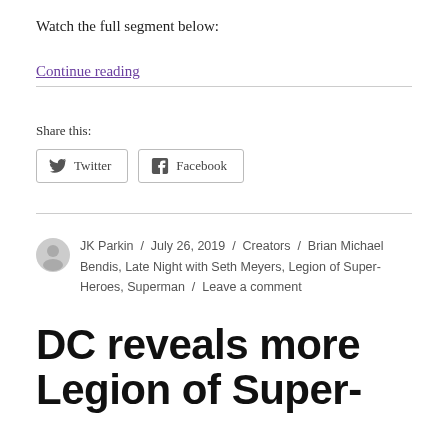Watch the full segment below:
Continue reading
Share this:
Twitter
Facebook
JK Parkin / July 26, 2019 / Creators / Brian Michael Bendis, Late Night with Seth Meyers, Legion of Super-Heroes, Superman / Leave a comment
DC reveals more Legion of Super-